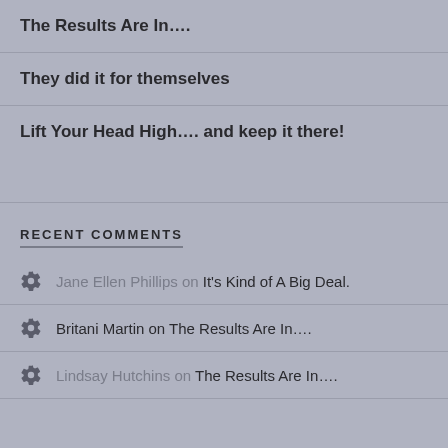The Results Are In….
They did it for themselves
Lift Your Head High…. and keep it there!
RECENT COMMENTS
Jane Ellen Phillips on It's Kind of A Big Deal.
Britani Martin on The Results Are In….
Lindsay Hutchins on The Results Are In….